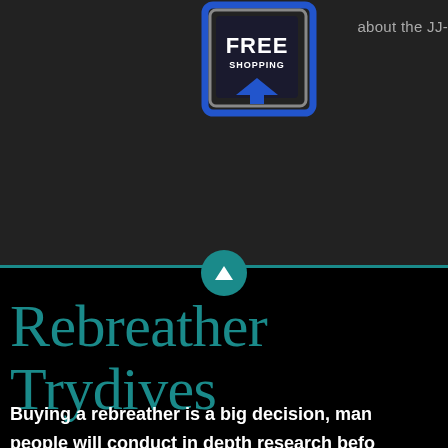[Figure (logo): FREE SHOPPING badge with upward arrow icon on dark background, blue bordered square graphic]
about the JJ-
[Figure (infographic): Teal horizontal divider line with teal circle containing white upward-pointing triangle in center]
Rebreather Trydives
Buying a rebreather is a big decision, many people will conduct in depth research before choosing or to confirming their choice